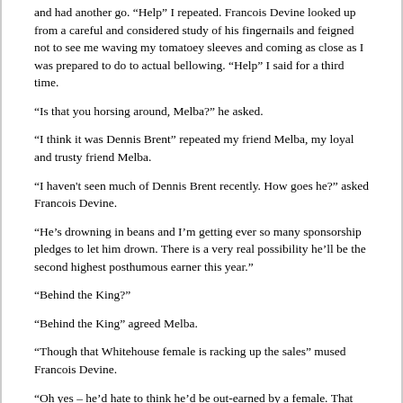and had another go. “Help” I repeated. Francois Devine looked up from a careful and considered study of his fingernails and feigned not to see me waving my tomatoey sleeves and coming as close as I was prepared to do to actual bellowing. “Help” I said for a third time.
“Is that you horsing around, Melba?” he asked.
“I think it was Dennis Brent” repeated my friend Melba, my loyal and trusty friend Melba.
“I haven’t seen much of Dennis Brent recently. How goes he?” asked Francois Devine.
“He’s drowning in beans and I’m getting ever so many sponsorship pledges to let him drown. There is a very real possibility he’ll be the second highest posthumous earner this year.”
“Behind the King?”
“Behind the King” agreed Melba.
“Though that Whitehouse female is racking up the sales” mused Francois Devine.
“Oh yes – he’d hate to think he’d be out-earned by a female. That would go against his code.”